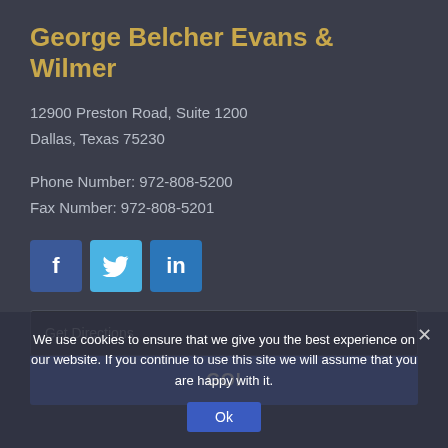George Belcher Evans & Wilmer
12900 Preston Road, Suite 1200
Dallas, Texas 75230
Phone Number: 972-808-5200
Fax Number: 972-808-5201
[Figure (infographic): Social media icons: Facebook (blue square with f), Twitter (light blue square with bird), LinkedIn (blue square with 'in')]
Get Directions
GO!
We use cookies to ensure that we give you the best experience on our website. If you continue to use this site we will assume that you are happy with it.
Ok